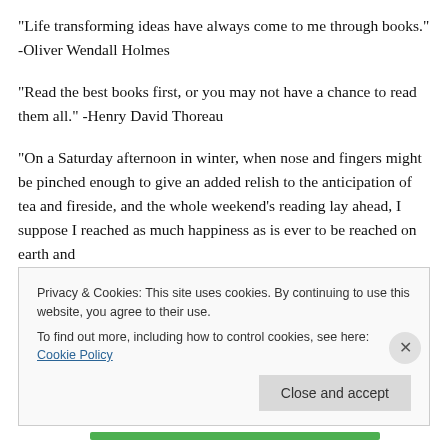“Life transforming ideas have always come to me through books.” -Oliver Wendall Holmes
“Read the best books first, or you may not have a chance to read them all.” -Henry David Thoreau
“On a Saturday afternoon in winter, when nose and fingers might be pinched enough to give an added relish to the anticipation of tea and fireside, and the whole weekend’s reading lay ahead, I suppose I reached as much happiness as is ever to be reached on earth and
Privacy & Cookies: This site uses cookies. By continuing to use this website, you agree to their use.
To find out more, including how to control cookies, see here: Cookie Policy
Close and accept